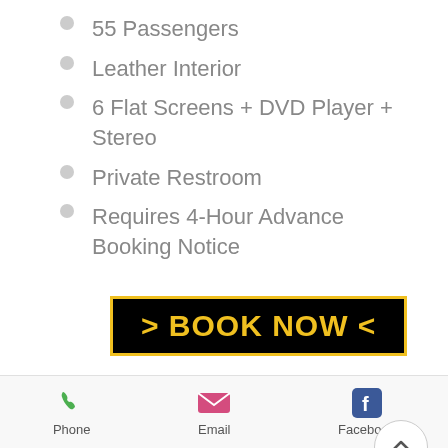55 Passengers
Leather Interior
6 Flat Screens + DVD Player + Stereo
Private Restroom
Requires 4-Hour Advance Booking Notice
[Figure (other): Black button with yellow border and yellow bold text reading '> BOOK NOW <']
[Figure (photo): White stretch limousine vehicle photo]
Phone   Email   Facebook